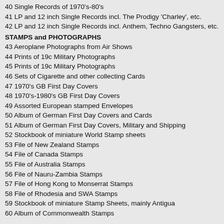40 Single Records of 1970's-80's
41 LP and 12 inch Single Records incl. The Prodigy 'Charley', etc.
42 LP and 12 inch Single Records incl. Anthem, Techno Gangsters, etc.
STAMPS and PHOTOGRAPHS
43 Aeroplane Photographs from Air Shows
44 Prints of 19c Military Photographs
45 Prints of 19c Military Photographs
46 Sets of Cigarette and other collecting Cards
47 1970's GB First Day Covers
48 1970's-1980's GB First Day Covers
49 Assorted European stamped Envelopes
50 Album of German First Day Covers and Cards
51 Album of German First Day Covers, Military and Shipping
52 Stockbook of miniature World Stamp sheets
53 File of New Zealand Stamps
54 File of Canada Stamps
55 File of Australia Stamps
56 File of Nauru-Zambia Stamps
57 File of Hong Kong to Monserrat Stamps
58 File of Rhodesia and SWA Stamps
59 Stockbook of miniature Stamp Sheets, mainly Antigua
60 Album of Commonwealth Stamps